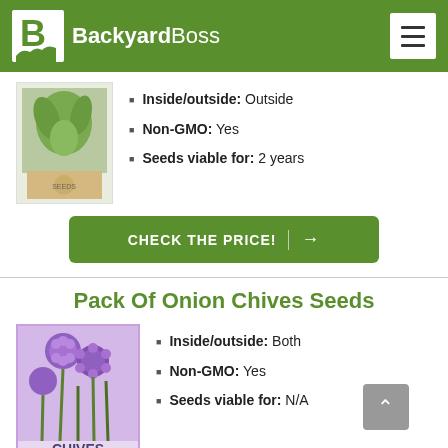BackyardBoss
Inside/outside: Outside
Non-GMO: Yes
Seeds viable for: 2 years
CHECK THE PRICE!
Pack Of Onion Chives Seeds
[Figure (photo): Pack of onion chives seeds with purple chive flowers on a seed packet labeled CHIVES ONION]
Inside/outside: Both
Non-GMO: Yes
Seeds viable for: N/A